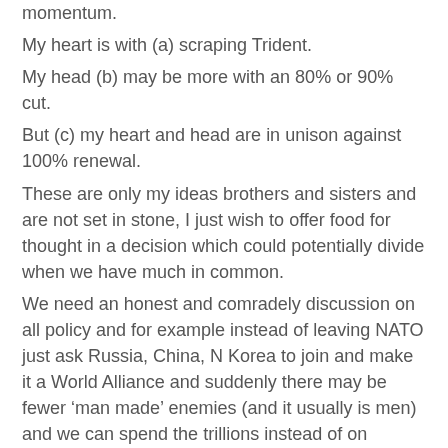momentum.
My heart is with (a) scraping Trident.
My head (b) may be more with an 80% or 90% cut.
But (c) my heart and head are in unison against 100% renewal.
These are only my ideas brothers and sisters and are not set in stone, I just wish to offer food for thought in a decision which could potentially divide when we have much in common.
We need an honest and comradely discussion on all policy and for example instead of leaving NATO just ask Russia, China, N Korea to join and make it a World Alliance and suddenly there may be fewer ‘man made’ enemies (and it usually is men) and we can spend the trillions instead of on military and arms on helping human beings, instead of on killing them!
Intellectually and in simple language (giving everyone a say) we need to carry on campaigning with those who are economically insecure and who are having things hard, as well as building policies of mass appeal (drawing from evidence, research and life experience) to achieve the New